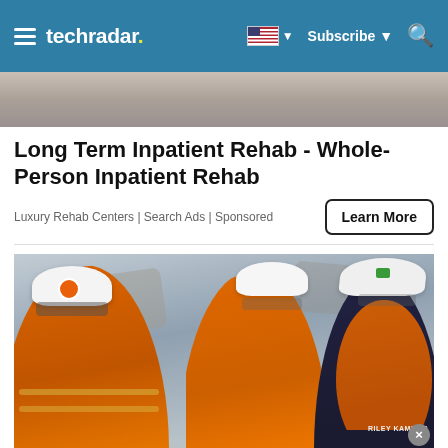techradar
[Figure (photo): Partial top image strip showing what appears to be a person, cropped at the top of the page]
Long Term Inpatient Rehab - Whole-Person Inpatient Rehab
Luxury Rehab Centers | Search Ads | Sponsored
[Figure (photo): Three workers in orange high-visibility clothing and white hard hats with safety glasses, standing at a mining or quarry site. The leftmost worker is a smiling Black man with an Emitech logo on his hat. The center worker is a smiling woman. The right worker is partially visible.]